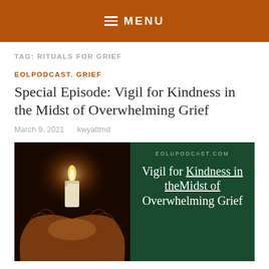MENU
TAG: RITUALS FOR GRIEF
EOLPODCAST, GRIEF
Special Episode: Vigil for Kindness in the Midst of Overwhelming Grief
March 9, 2021   kwyattmd
[Figure (photo): Left half: photograph of two cupped hands holding a lit white candle against a dark background. Right half: dark green panel with text 'EOLUPODCAST.COM' and 'Vigil for Kindness in theMidst of Overwhelming Grief' in white serif font.]